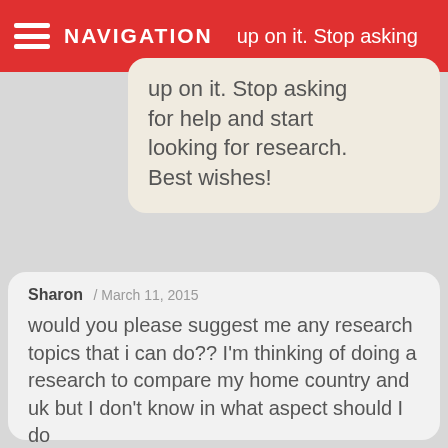NAVIGATION  up on it. Stop asking for help and start looking for research. Best wishes!
up on it. Stop asking for help and start looking for research. Best wishes!
Sharon / March 11, 2015

would you please suggest me any research topics that i can do?? I'm thinking of doing a research to compare my home country and uk but I don't know in what aspect should I do